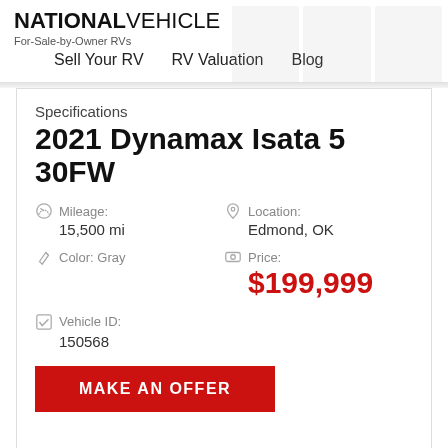NATIONAL VEHICLE
For-Sale-by-Owner RVs
Sell Your RV   RV Valuation   Blog
Specifications
2021 Dynamax Isata 5 30FW
Mileage: 15,500 mi
Location: Edmond, OK
Color: Gray
Price: $199,999
Vehicle ID: 150568
MAKE AN OFFER